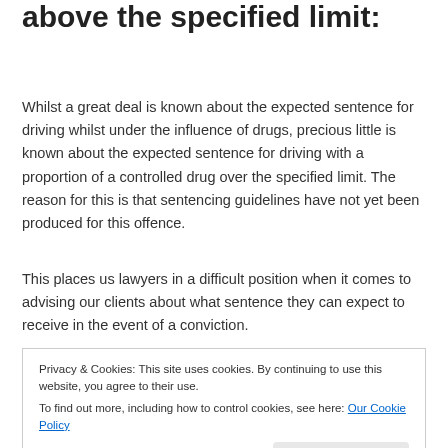above the specified limit:
Whilst a great deal is known about the expected sentence for driving whilst under the influence of drugs, precious little is known about the expected sentence for driving with a proportion of a controlled drug over the specified limit. The reason for this is that sentencing guidelines have not yet been produced for this offence.
This places us lawyers in a difficult position when it comes to advising our clients about what sentence they can expect to receive in the event of a conviction.
Privacy & Cookies: This site uses cookies. By continuing to use this website, you agree to their use. To find out more, including how to control cookies, see here: Our Cookie Policy  Close and accept
Minimum sentence for driving with